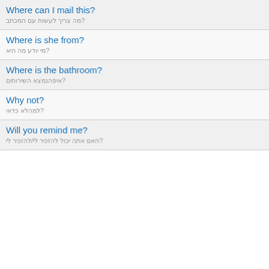Where can I mail this? / מה צריך לעשות עם המכתב?
Where is she from? / מי יודע מה היא?
Where is the bathroom? / איפהנמצא השירותים?
Why not? / למהלא כדאי?
Will you remind me? / האם אתה יכול להזכיר לי/להזכיר לי?